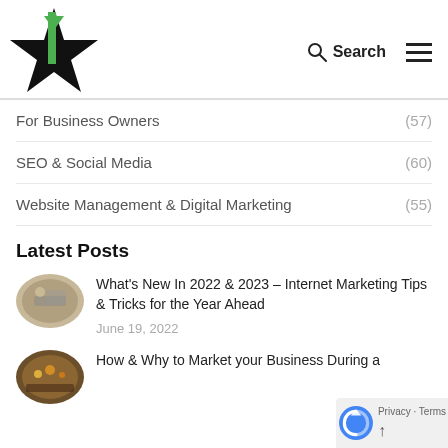[Figure (logo): Star-shaped logo with black star and green bookmark/arrow shape in center]
Search
For Business Owners (57)
SEO & Social Media (60)
Website Management & Digital Marketing (55)
Latest Posts
[Figure (photo): Oval thumbnail showing hands on a desk with papers and laptop]
What's New In 2022 & 2023 – Internet Marketing Tips & Tricks for the Year Ahead
June 19, 2022
[Figure (photo): Oval thumbnail showing a warm-lit interior scene]
How & Why to Market your Business During a Recession